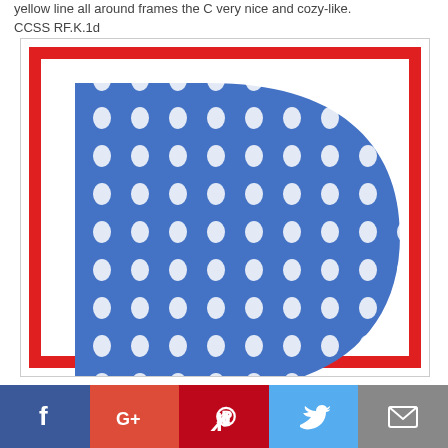yellow line all around frames the C very nice and cozy-like. CCSS RF.K.1d
[Figure (illustration): A decorative letter D in blue polka-dot pattern with white dots, on a white background, framed by a red border with white inner margin. The letter D is large and partially cropped at the bottom.]
Social share buttons: Facebook, Google+, Pinterest, Twitter, Email